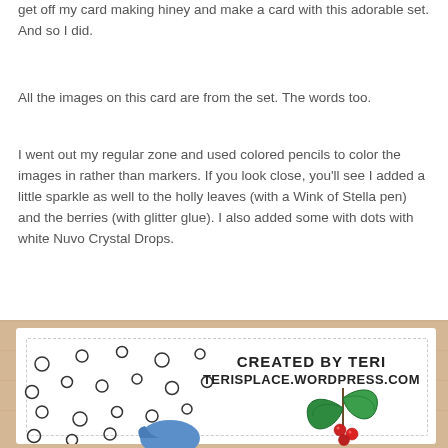get off my card making hiney and make a card with this adorable set. And so I did.
All the images on this card are from the set. The words too.
I went out my regular zone and used colored pencils to color the images in rather than markers. If you look close, you’ll see I added a little sparkle as well to the holly leaves (with a Wink of Stella pen) and the berries (with glitter glue). I also added some with dots with white Nuvo Crystal Drops.
[Figure (photo): Close-up photo of a handmade card on a wooden surface. The white card has a dashed border, circular dots/snowflake pattern on the left, holly leaves and berries illustration on the right, and text reading 'CREATED BY TERI TERISPLACE.WORDPRESS.COM' in bold. A partial blue bird figure is visible at the bottom.]